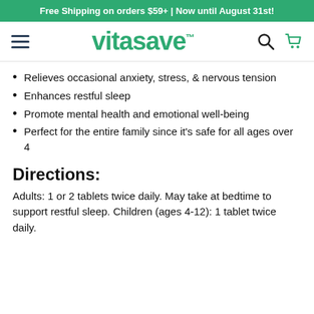Free Shipping on orders $59+ | Now until August 31st!
[Figure (logo): Vitasave logo with hamburger menu, search icon, and cart icon]
Relieves occasional anxiety, stress, & nervous tension
Enhances restful sleep
Promote mental health and emotional well-being
Perfect for the entire family since it's safe for all ages over 4
Directions:
Adults: 1 or 2 tablets twice daily. May take at bedtime to support restful sleep. Children (ages 4-12): 1 tablet twice daily.